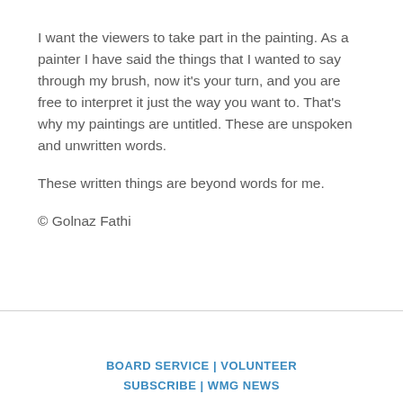I want the viewers to take part in the painting. As a painter I have said the things that I wanted to say through my brush, now it's your turn, and you are free to interpret it just the way you want to. That's why my paintings are untitled. These are unspoken and unwritten words.
These written things are beyond words for me.
© Golnaz Fathi
BOARD SERVICE | VOLUNTEER
SUBSCRIBE | WMG NEWS